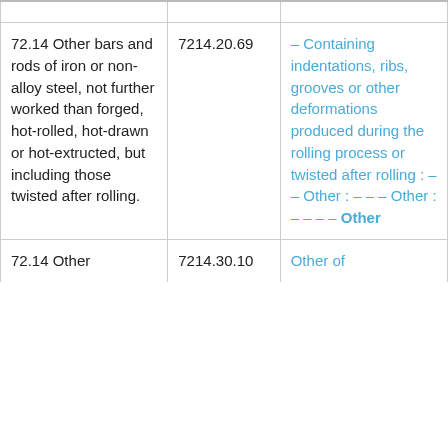| 72.14 Other bars and rods of iron or non-alloy steel, not further worked than forged, hot-rolled, hot-drawn or hot-extructed, but including those twisted after rolling. | 7214.20.69 | – Containing indentations, ribs, grooves or other deformations produced during the rolling process or twisted after rolling : – – Other : – – – Other : – – – – Other |
| 72.14 Other | 7214.30.10 | Other of |